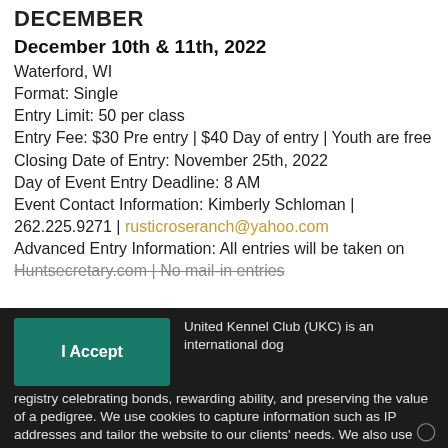DECEMBER
December 10th & 11th, 2022
Waterford, WI
Format: Single
Entry Limit: 50 per class
Entry Fee: $30 Pre entry | $40 Day of entry | Youth are free
Closing Date of Entry: November 25th, 2022
Day of Event Entry Deadline: 8 AM
Event Contact Information: Kimberly Schloman | 262.225.9271 | rusticroseranch@yahoo.com
Advanced Entry Information: All entries will be taken on Huntsecretary.com | No mail-in entries
I Accept
United Kennel Club (UKC) is an international dog registry celebrating bonds, rewarding ability, and preserving the value of a pedigree. We use cookies to capture information such as IP addresses and tailor the website to our clients' needs. We also use this information to target and measure promotional material. Please see our Privacy Policy for more information.